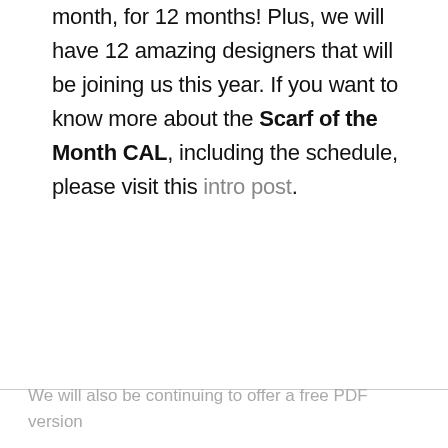month, for 12 months! Plus, we will have 12 amazing designers that will be joining us this year. If you want to know more about the Scarf of the Month CAL, including the schedule, please visit this intro post.
We will also be continuing to offer a free PDF version